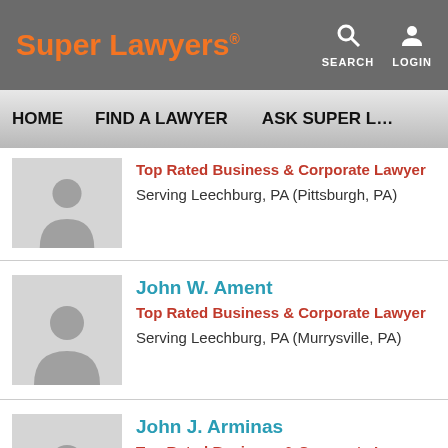Super Lawyers
Top Rated Business & Corporate Lawyer
Serving Leechburg, PA (Pittsburgh, PA)
John W. Ament
Top Rated Business & Corporate Lawyer
Serving Leechburg, PA (Murrysville, PA)
John J. Arminas
Top Rated Business & Corporate Lawyer
Serving Leechburg, PA (Pittsburgh, PA)